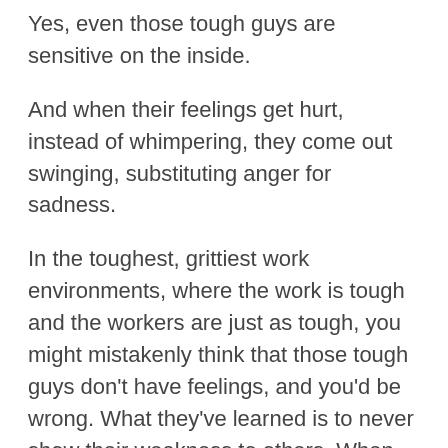Yes, even those tough guys are sensitive on the inside.
And when their feelings get hurt, instead of whimpering, they come out swinging, substituting anger for sadness.
In the toughest, grittiest work environments, where the work is tough and the workers are just as tough, you might mistakenly think that those tough guys don't have feelings, and you'd be wrong. What they've learned is to never show their weakness to others. When speaking face to face with one of those tough guys, what they reveal is that they get sick and tired of not being listened to and being told what they're doing isn't good enough.
An impressive department manager in one heavy equipment company ended up getting all the